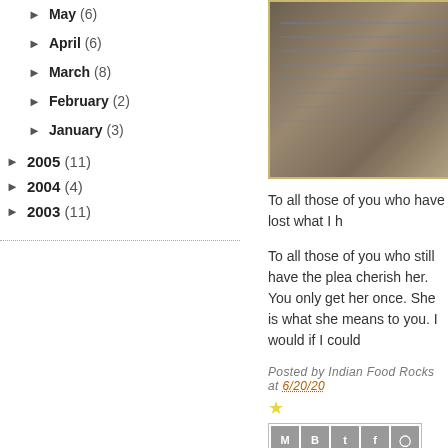► May (6)
► April (6)
► March (8)
► February (2)
► January (3)
► 2005 (11)
► 2004 (4)
► 2003 (11)
[Figure (photo): A photograph of a handwritten notebook or ledger page with blue ink entries on lined paper, shown in a yellowish-bordered frame]
To all those of you who have lost what I h
To all those of you who still have the plea cherish her. You only get her once. She is what she means to you. I would if I could
Posted by Indian Food Rocks at 6/20/20
[Figure (infographic): Share icons: Email, Blogger, Twitter, Facebook, Pinterest]
[Figure (infographic): Pinterest Save button in red]
46 COMMENTS: